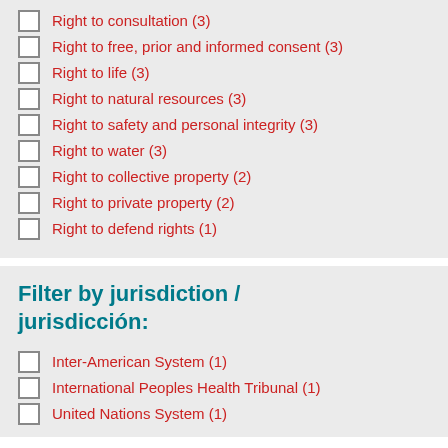Right to consultation (3)
Right to free, prior and informed consent (3)
Right to life (3)
Right to natural resources (3)
Right to safety and personal integrity (3)
Right to water (3)
Right to collective property (2)
Right to private property (2)
Right to defend rights (1)
Filter by jurisdiction / jurisdicción:
Inter-American System (1)
International Peoples Health Tribunal (1)
United Nations System (1)